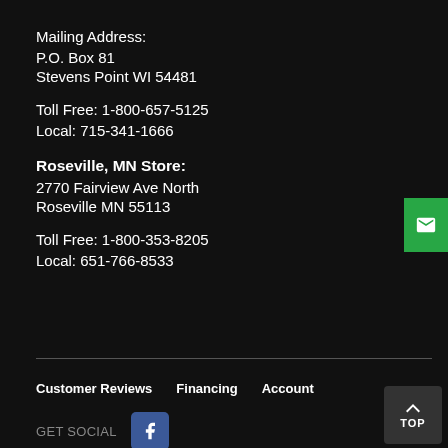Mailing Address:
P.O. Box 81
Stevens Point WI 54481
Toll Free: 1-800-657-5125
Local: 715-341-1666
Roseville, MN Store:
2770 Fairview Ave North
Roseville MN 55113
Toll Free: 1-800-353-8205
Local: 651-766-8533
Customer Reviews  Financing  Account  GET SOCIAL